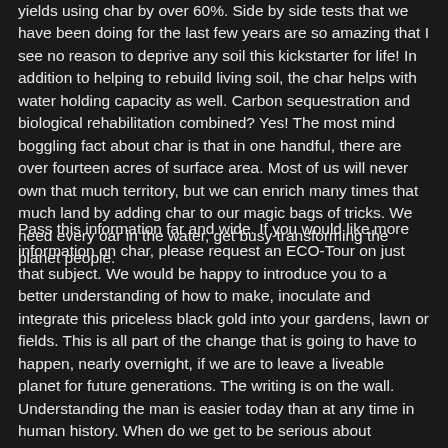yields using char by over 60%. Side by side tests that we have been doing for the last few years are so amazing that I see no reason to deprive any soil this kickstarter for life! In addition to helping to rebuild living soil, the char helps with water holding capacity as well. Carbon sequestration and biological rehabilitation combined? Yes! The most mind boggling fact about char is that in one handful, there are over fourteen acres of surface area. Most of us will never own that much territory, but we can enrich many times that much land by adding char to our magic bags of tricks. We need every oar in the water, get busy transforming the planet people.
Pass this information far and wide. If you would like more information on char, please request an ECO-Tour on just that subject. We would be happy to introduce you to a better understanding of how to make, inoculate and integrate this priceless black gold into your gardens, lawn or fields. This is all part of the change that is going to have to happen, nearly overnight, if we are to leave a liveable planet for future generations. The writing is on the wall. Understanding the man is easier today than at any time in human history. When do we get to be serious about ensuring that...